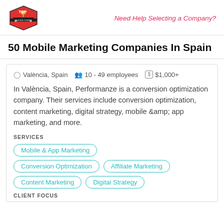[Figure (logo): Top Design Firms logo — red hexagon badge with trophy icon and text]
Need Help Selecting a Company?
50 Mobile Marketing Companies In Spain
València, Spain   10 - 49 employees   $1,000+
In València, Spain, Performanze is a conversion optimization company. Their services include conversion optimization, content marketing, digital strategy, mobile &amp; app marketing, and more.
SERVICES
Mobile & App Marketing
Conversion Optimization
Affiliate Marketing
Content Marketing
Digital Strategy
CLIENT FOCUS